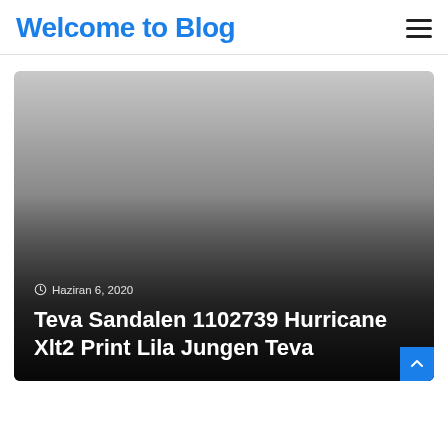Welcome to Blog
[Figure (illustration): Blog post card with gradient background (light gray to dark), showing date 'Haziran 6, 2020' and post title 'Teva Sandalen 1102739 Hurricane Xlt2 Print Lila Jungen Teva' in white text over dark overlay]
Haziran 6, 2020
Teva Sandalen 1102739 Hurricane Xlt2 Print Lila Jungen Teva